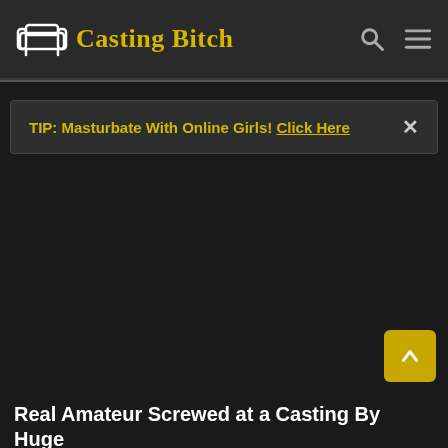Casting Bitch
TIP: Masturbate With Online Girls! Click Here
Real Amateur Screwed at a Casting By Huge